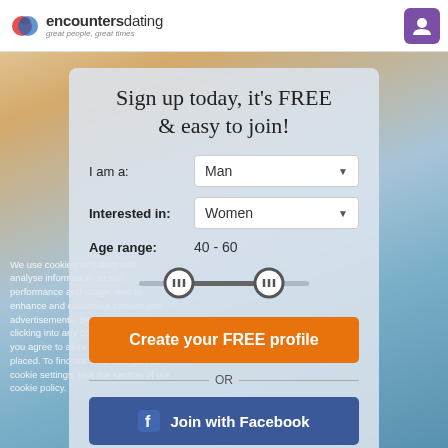encountersdating — great people, great times
Sign up today, it's FREE & easy to join!
I am a: Man
Interested in: Women
Age range: 40 - 60
Create your FREE profile
OR
Join with Facebook
We use cookies to collect and analyse information on site performance and usage, and to enhance and customise content and advertisements. By clicking "OK" or clicking into any content on this site you agree to allow cookies to be placed. To find out or to change your cookie settings, visit the section of our cookie policy.